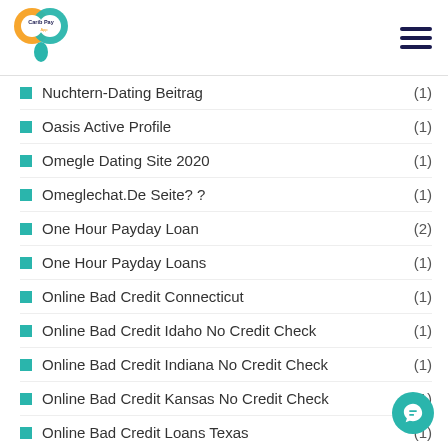Carib Pay App
Nuchtern-Dating Beitrag (1)
Oasis Active Profile (1)
Omegle Dating Site 2020 (1)
Omeglechat.De Seite? ? (1)
One Hour Payday Loan (2)
One Hour Payday Loans (1)
Online Bad Credit Connecticut (1)
Online Bad Credit Idaho No Credit Check (1)
Online Bad Credit Indiana No Credit Check (1)
Online Bad Credit Kansas No Credit Check (1)
Online Bad Credit Loans Texas (1)